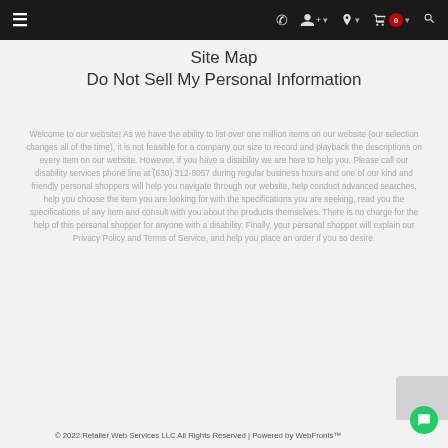Navigation bar with hamburger menu, phone, account, location, cart (0), and search icons
Site Map
Do Not Sell My Personal Information
Welcome to our website! As we have the ability to list over one million items on our website (our selection changes all of the time), it is not feasible for a company our size to record and playback the descriptions on every item on our website. However, if you have a disability we are here to help you. Please call our disability services phone line at (630) 312-8057 during regular business hours and one of our kind and friendly personal shoppers will help you navigate through our website, help conduct advanced searches, help you choose the item you are looking for with the specifications you are seeking, read you the specifications of any item and consult with you about the products themselves. There is no charge for the help of this personal shopper for anyone with a disability. Finally, your personal shopper will explain our Privacy Policy and Terms of Service, and help you place an order if you so desire.
© 2022 Retailer Web Services LLC All Rights Reserved | Powered by WebFronts™